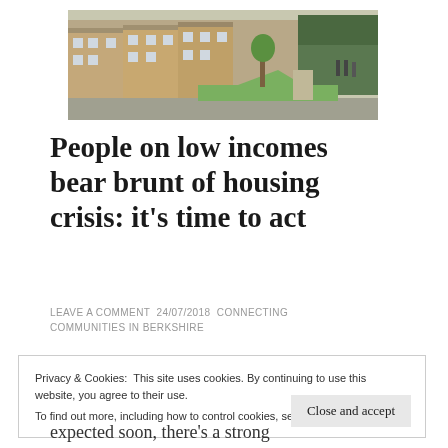[Figure (photo): Photograph of a residential housing estate with brick terraced houses, a green lawn, a tree, pathway, and people walking in the background]
People on low incomes bear brunt of housing crisis: it’s time to act
LEAVE A COMMENT 24/07/2018 CONNECTING COMMUNITIES IN BERKSHIRE
Privacy & Cookies: This site uses cookies. By continuing to use this website, you agree to their use.
To find out more, including how to control cookies, see here: Cookie Policy
Close and accept
expected soon, there’s a strong